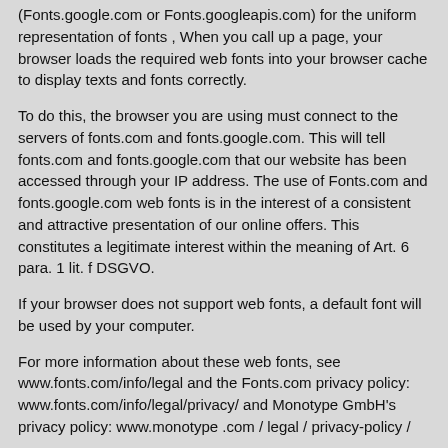(Fonts.google.com or Fonts.googleapis.com) for the uniform representation of fonts , When you call up a page, your browser loads the required web fonts into your browser cache to display texts and fonts correctly.
To do this, the browser you are using must connect to the servers of fonts.com and fonts.google.com. This will tell fonts.com and fonts.google.com that our website has been accessed through your IP address. The use of Fonts.com and fonts.google.com web fonts is in the interest of a consistent and attractive presentation of our online offers. This constitutes a legitimate interest within the meaning of Art. 6 para. 1 lit. f DSGVO.
If your browser does not support web fonts, a default font will be used by your computer.
For more information about these web fonts, see www.fonts.com/info/legal and the Fonts.com privacy policy: www.fonts.com/info/legal/privacy/ and Monotype GmbH's privacy policy: www.monotype .com / legal / privacy-policy /
Or. at fonts.google.com/about and the Fonts.google.com FAQs: developers.google.com/fonts/faq/ and the Google LLC privacy policy: www.google.com/intl/en/policies/privacy /
12. Legal basis for the processing